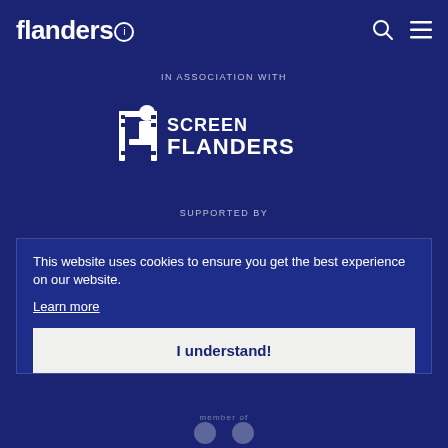flanders(i)
IN ASSOCIATION WITH
[Figure (logo): Screen Flanders logo with stylized 'f' icon and text 'SCREEN FLANDERS']
SUPPORTED BY
This website uses cookies to ensure you get the best experience on our website. Learn more
I understand!
member of